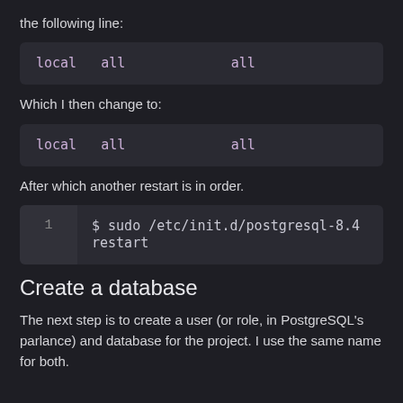the following line:
local   all             all
Which I then change to:
local   all             all
After which another restart is in order.
$ sudo /etc/init.d/postgresql-8.4 restart
Create a database
The next step is to create a user (or role, in PostgreSQL's parlance) and database for the project. I use the same name for both.